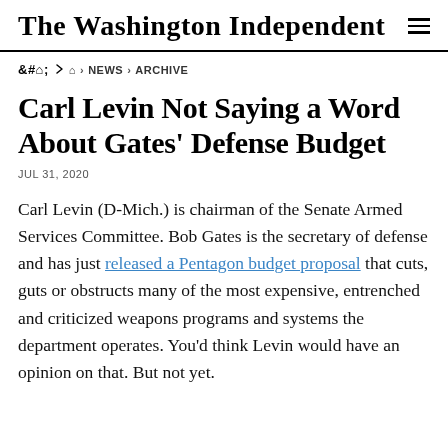The Washington Independent
🏠 › NEWS › ARCHIVE
Carl Levin Not Saying a Word About Gates' Defense Budget
JUL 31, 2020
Carl Levin (D-Mich.) is chairman of the Senate Armed Services Committee. Bob Gates is the secretary of defense and has just released a Pentagon budget proposal that cuts, guts or obstructs many of the most expensive, entrenched and criticized weapons programs and systems the department operates. You'd think Levin would have an opinion on that. But not yet.